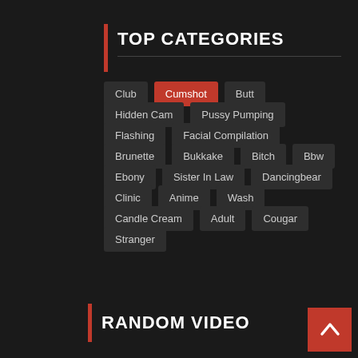TOP CATEGORIES
Club
Cumshot
Butt
Hidden Cam
Pussy Pumping
Flashing
Facial Compilation
Brunette
Bukkake
Bitch
Bbw
Ebony
Sister In Law
Dancingbear
Clinic
Anime
Wash
Candle Cream
Adult
Cougar
Stranger
RANDOM VIDEO